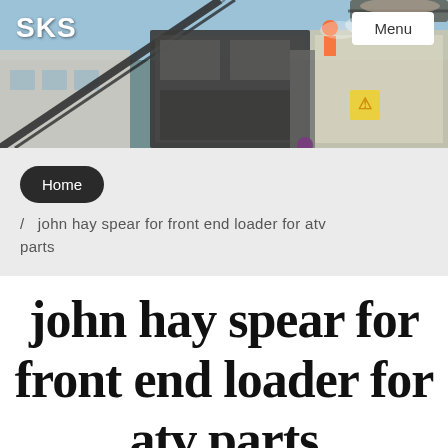[Figure (photo): Industrial machinery/equipment at a facility, showing conveyor belts, crushers, and heavy equipment against a cloudy sky background. Workers visible in orange hi-vis gear.]
SKS
Menu
Home
/ john hay spear for front end loader for atv parts
john hay spear for front end loader for atv parts